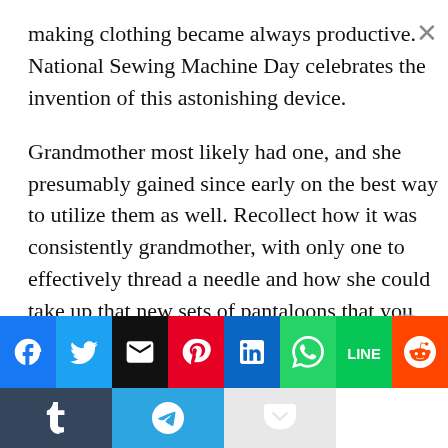making clothing became always productive. National Sewing Machine Day celebrates the invention of this astonishing device.
Grandmother most likely had one, and she presumably gained since early on the best way to utilize them as well. Recollect how it was consistently grandmother, with only one to effectively thread a needle and how she could take up that new sets of pantaloons that you wanted for the school play?
[Figure (other): Social media share buttons bar: Facebook (blue), Twitter (blue), Email (black), Pinterest (red), LinkedIn (blue), WhatsApp (green), LINE (green), Reddit (orange); second row: Tumblr (dark blue/grey), Telegram (blue), Pocket (light grey with red icon)]